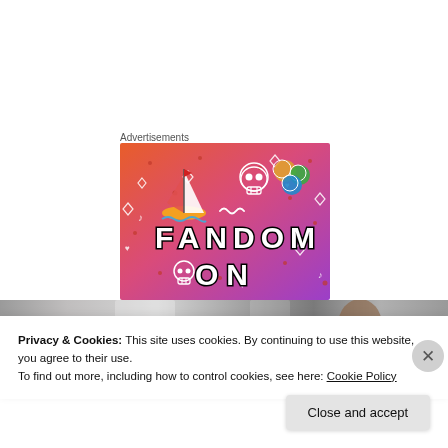Advertisements
[Figure (illustration): Fandom ON advertisement banner with colorful gradient background (orange to purple), featuring doodle icons like a sailboat, skull, dice, and the text 'FANDOM ON' in large bold letters.]
[Figure (photo): Blurred/darkened horizontal image strip showing indistinct background scene.]
Privacy & Cookies: This site uses cookies. By continuing to use this website, you agree to their use.
To find out more, including how to control cookies, see here: Cookie Policy
Close and accept